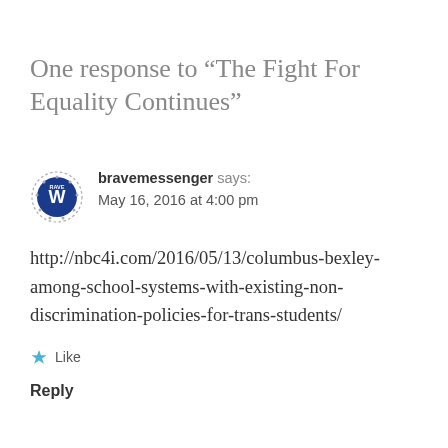One response to “The Fight For Equality Continues”
bravemessenger says: May 16, 2016 at 4:00 pm
http://nbc4i.com/2016/05/13/columbus-bexley-among-school-systems-with-existing-non-discrimination-policies-for-trans-students/
Like
Reply